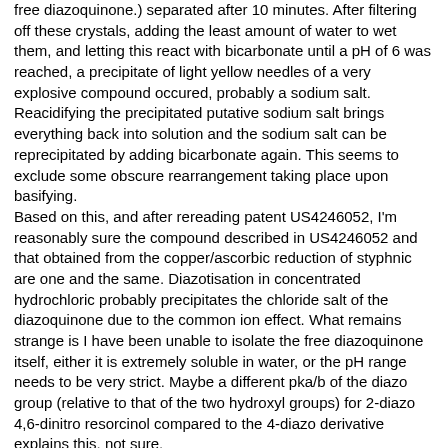free diazoquinone.) separated after 10 minutes. After filtering off these crystals, adding the least amount of water to wet them, and letting this react with bicarbonate until a pH of 6 was reached, a precipitate of light yellow needles of a very explosive compound occured, probably a sodium salt. Reacidifying the precipitated putative sodium salt brings everything back into solution and the sodium salt can be reprecipitated by adding bicarbonate again. This seems to exclude some obscure rearrangement taking place upon basifying.
Based on this, and after rereading patent US4246052, I'm reasonably sure the compound described in US4246052 and that obtained from the copper/ascorbic reduction of styphnic are one and the same. Diazotisation in concentrated hydrochloric probably precipitates the chloride salt of the diazoquinone due to the common ion effect. What remains strange is I have been unable to isolate the free diazoquinone itself, either it is extremely soluble in water, or the pH range needs to be very strict. Maybe a different pka/b of the diazo group (relative to that of the two hydroxyl groups) for 2-diazo 4,6-dinitro resorcinol compared to the 4-diazo derivative explains this, not sure.

Another observation was that the light yellow needles of the sodium salt, when acidified using acetic acid, did dissolve temporarily again, precipitating small golden cubic crystals again that might be the free diazoquinone, not sure yet. It also detonates in reasonably small quantities, so if it is the free diazoquinone, it behaves much different from 4-diazo 2,6-dinitro resorcinol, which only flashes upon ignition, like NC. It might be made easily by adding the diazo chloride salt to acetic acid and slowly adding a sodium acetate solution. If this is all